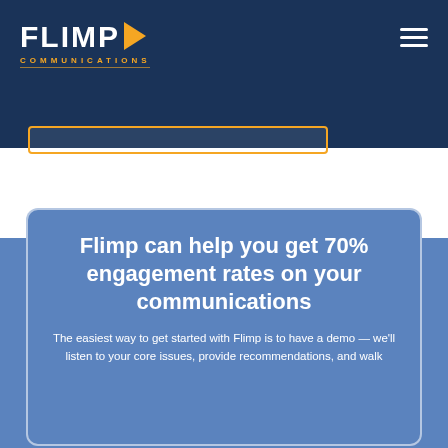[Figure (logo): Flimp Communications logo: white bold FLIMP text with orange play button triangle, orange COMMUNICATIONS text below with orange underline lines]
Flimp can help you get 70% engagement rates on your communications
The easiest way to get started with Flimp is to have a demo — we'll listen to your core issues, provide recommendations, and walk